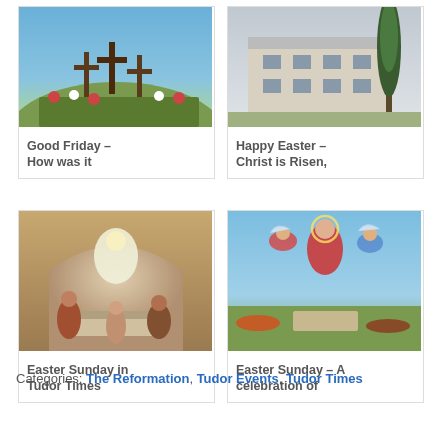[Figure (photo): Photo of crucifixion scene with crosses on a hill and crowd]
Good Friday – How was it
[Figure (photo): Photo of a white building with a tall cypress tree]
Happy Easter – Christ is Risen,
[Figure (photo): Renaissance painting of the Resurrection with figures around a tomb]
Easter Sunday in Tudor Times
[Figure (photo): Renaissance painting of the Ascension of Christ with angels]
Easter Sunday – A celebration of
Categories: The Reformation, Tudor Events, Tudor Times